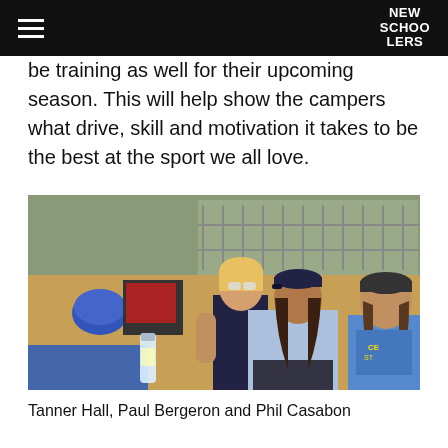NEW SCHOOLERS
be training as well for their upcoming season. This will help show the campers what drive, skill and motivation it takes to be the best at the sport we all love.
[Figure (photo): Three young people sitting outdoors at what appears to be a skate or action sports camp. Left person is blond with sunglasses, middle person wears a cap and light blue hoodie, right person wears a blue t-shirt and dark cap. Ski/skate equipment and bicycles visible in background.]
Tanner Hall, Paul Bergeron and Phil Casabon